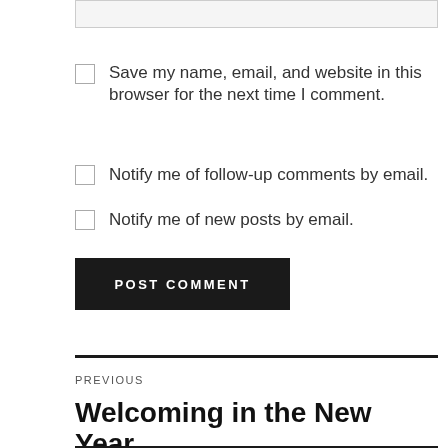Save my name, email, and website in this browser for the next time I comment.
Notify me of follow-up comments by email.
Notify me of new posts by email.
POST COMMENT
PREVIOUS
Welcoming in the New Year